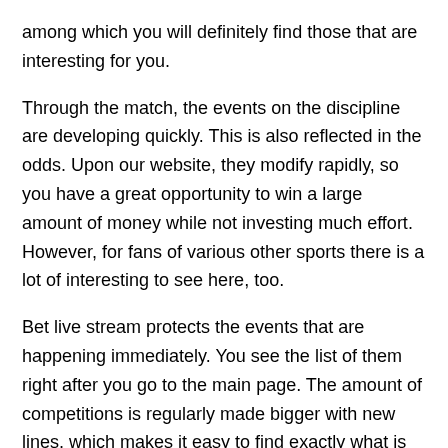among which you will definitely find those that are interesting for you.
Through the match, the events on the discipline are developing quickly. This is also reflected in the odds. Upon our website, they modify rapidly, so you have a great opportunity to win a large amount of money while not investing much effort. However, for fans of various other sports there is a lot of interesting to see here, too.
Bet live stream protects the events that are happening immediately. You see the list of them right after you go to the main page. The amount of competitions is regularly made bigger with new lines, which makes it easy to find exactly what is the most interesting for you.
Popularity of Live Betting